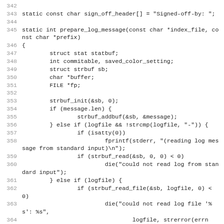[Figure (screenshot): Source code listing in C showing lines 342-365, with line numbers on the left and monospaced code on the right. Code includes static const char array sign_off_header and static int function prepare_log_message with local variable declarations and conditional logic for reading log messages.]